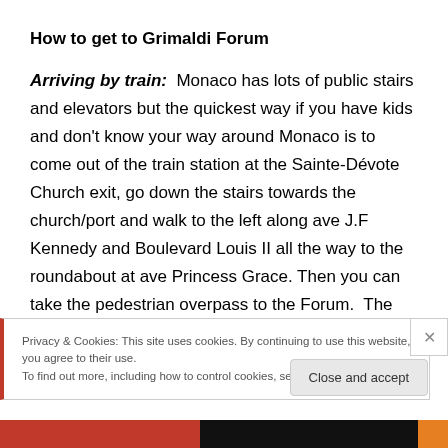How to get to Grimaldi Forum
Arriving by train:  Monaco has lots of public stairs and elevators but the quickest way if you have kids and don't know your way around Monaco is to come out of the train station at the Sainte-Dévote Church exit, go down the stairs towards the church/port and walk to the left along ave J.F Kennedy and Boulevard Louis II all the way to the roundabout at ave Princess Grace. Then you can take the pedestrian overpass to the Forum.  The walk from the
Privacy & Cookies: This site uses cookies. By continuing to use this website, you agree to their use.
To find out more, including how to control cookies, see here: Cookie Policy
Close and accept